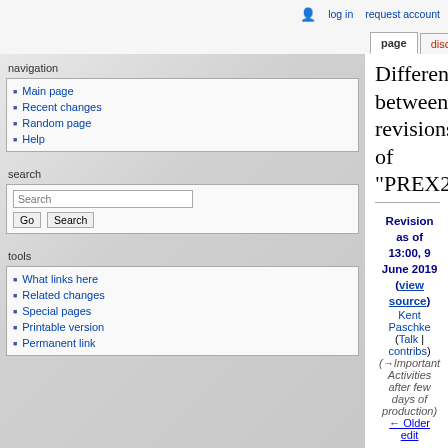log in  request account
page  discussion  view source  history
Difference between revisions of "PREX2RunPlan2019"
Revision as of 13:00, 9 June 2019 (view source)
Kent Paschke (Talk | contribs)
(→Important Activities after few days of production)
← Older edit
Latest revision as of 13:24, 19 October 2019 (view source)
Cameronc (Talk | contribs)
m
(93 intermediate revisions by 10 users not shown)
Line 1:
Line 1:
+ <br>
navigation
Main page
Recent changes
Random page
Help
search
tools
What links here
Related changes
Special pages
Printable version
Permanent link